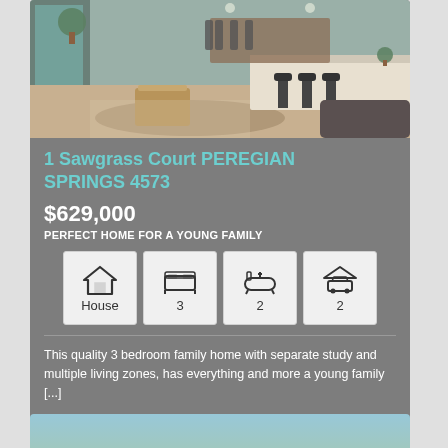[Figure (photo): Interior photo of a modern home living/dining area with kitchen island, bar stools, wooden coffee table, and rug]
1 Sawgrass Court PEREGIAN SPRINGS 4573
$629,000
PERFECT HOME FOR A YOUNG FAMILY
[Figure (infographic): Property feature icons: House type, 3 bedrooms, 2 bathrooms, 2 garage spaces]
This quality 3 bedroom family home with separate study and multiple living zones, has everything and more a young family [...]
VIEW LISTING